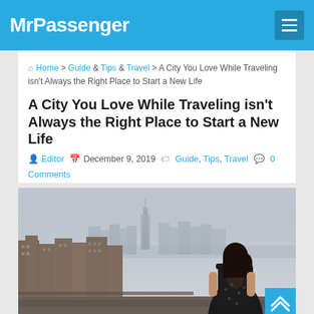MrPassenger
🏠 Home > Guide & Tips & Travel > A City You Love While Traveling isn't Always the Right Place to Start a New Life
A City You Love While Traveling isn't Always the Right Place to Start a New Life
Editor   December 9, 2019   Guide, Tips, Travel   0 Comments
[Figure (photo): Woman with dark hair in a black dress standing on a rooftop or elevated platform, viewed from behind, looking at a city skyline. The skyline features tall buildings including what appears to be One World Trade Center. Overcast sky.]